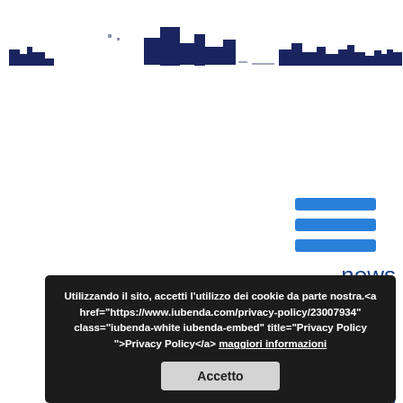[Figure (screenshot): Website header with logo graphic (dark navy/blue shapes resembling a skyline or building silhouette) on a white background.]
[Figure (other): Hamburger menu icon with three blue horizontal bars on the right side of the page.]
news
Project
Contacts
Documents
Newsletters
Links
Partners
Utilizzando il sito, accetti l'utilizzo dei cookie da parte nostra.<a href="https://www.iubenda.com/privacy-policy/23007934" class="iubenda-white iubenda-embed" title="Privacy Policy">Privacy Policy</a> maggiori informazioni Accetto